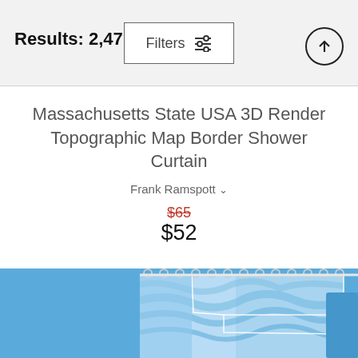Results: 2,471
Filters
Massachusetts State USA 3D Render Topographic Map Border Shower Curtain
Frank Ramspott
$65
$52
[Figure (photo): Product image showing a shower curtain with a 3D rendered topographic map of Massachusetts state in blue tones, hanging on curtain rings]